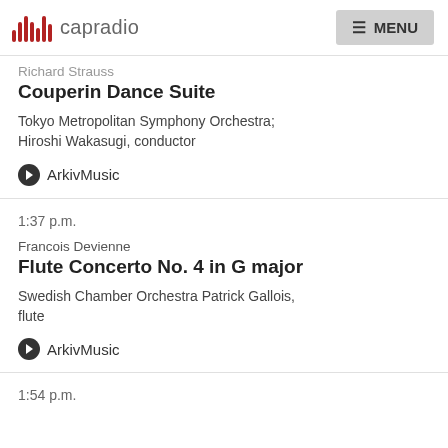capradio MENU
Richard Strauss
Couperin Dance Suite
Tokyo Metropolitan Symphony Orchestra; Hiroshi Wakasugi, conductor
ArkivMusic
1:37 p.m.
Francois Devienne
Flute Concerto No. 4 in G major
Swedish Chamber Orchestra Patrick Gallois, flute
ArkivMusic
1:54 p.m.